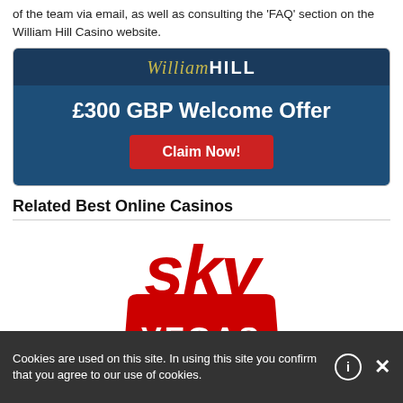of the team via email, as well as consulting the 'FAQ' section on the William Hill Casino website.
[Figure (advertisement): William Hill Casino banner ad with logo, £300 GBP Welcome Offer text, and a red Claim Now! button on dark blue background]
Related Best Online Casinos
[Figure (logo): Sky Vegas logo: red italic 'sky' text above a red curved badge shape with white 'VEGAS' text]
Cookies are used on this site. In using this site you confirm that you agree to our use of cookies.